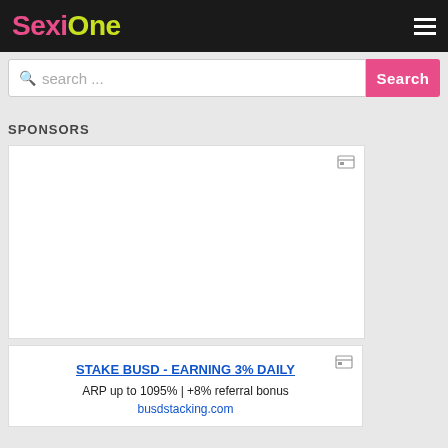SexiOne
search ...
SPONSORS
[Figure (other): Empty white advertisement placeholder box with an ad icon in the top right corner]
[Figure (other): Advertisement card for STAKE BUSD - EARNING 3% DAILY with link text and description]
STAKE BUSD - EARNING 3% DAILY
ARP up to 1095% | +8% referral bonus
busdstacking.com